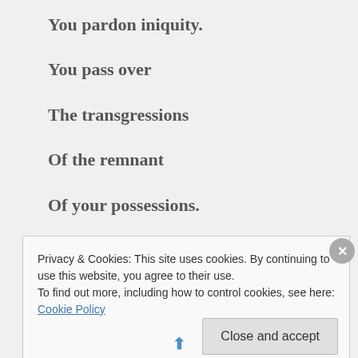You pardon iniquity.
You pass over
The transgressions
Of the remnant
Of your possessions.
Privacy & Cookies: This site uses cookies. By continuing to use this website, you agree to their use.
To find out more, including how to control cookies, see here: Cookie Policy